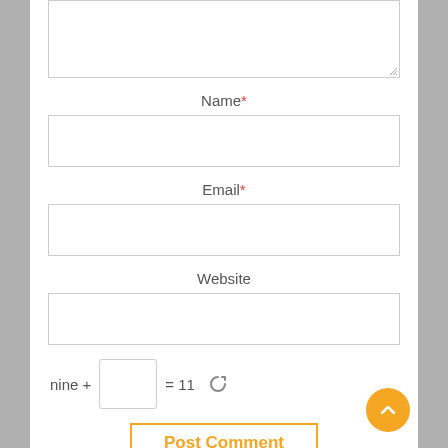[Figure (screenshot): Textarea input box (partially shown at top, with resize handle in bottom-right)]
Name *
[Figure (screenshot): Name text input field (empty)]
Email *
[Figure (screenshot): Email text input field (empty)]
Website
[Figure (screenshot): Website text input field (empty)]
nine + [input box] = 11 [refresh icon]
Post Comment